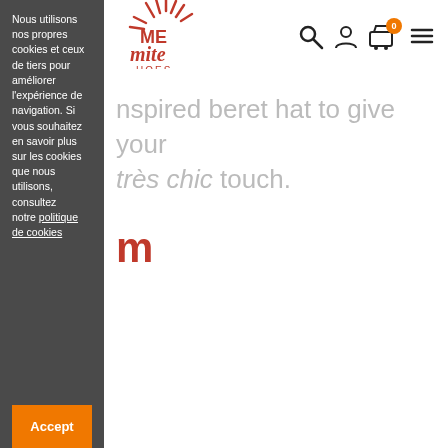Nous utilisons nos propres cookies et ceux de tiers pour améliorer l'expérience de navigation. Si vous souhaitez en savoir plus sur les cookies que nous utilisons, consultez notre politique de cookies
[Figure (logo): Partial logo showing stylized burst/explosion graphic with red cursive text 'ME mite' and smaller text 'HOES']
nspired beret hat to give your très chic touch.
m